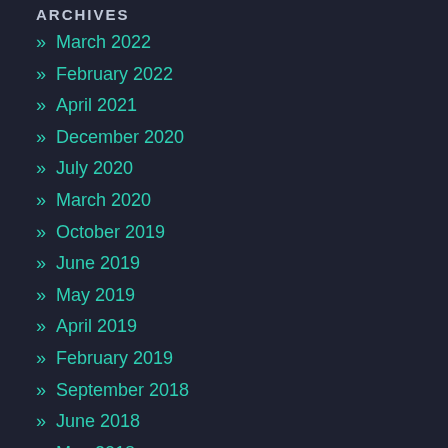ARCHIVES
» March 2022
» February 2022
» April 2021
» December 2020
» July 2020
» March 2020
» October 2019
» June 2019
» May 2019
» April 2019
» February 2019
» September 2018
» June 2018
» May 2018